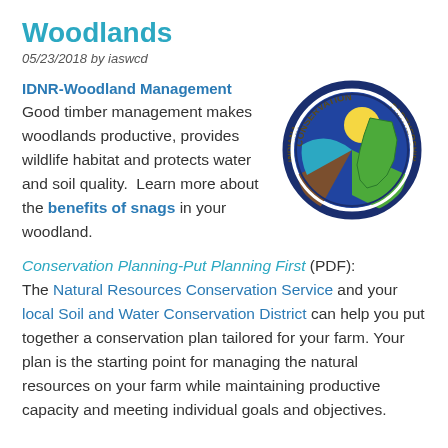Woodlands
05/23/2018 by iaswcd
IDNR-Woodland Management
Good timber management makes woodlands productive, provides wildlife habitat and protects water and soil quality.  Learn more about the benefits of snags in your woodland.
[Figure (logo): Indiana Conservation Partnership circular logo with blue, green, brown, and yellow design elements and text around the border]
Conservation Planning-Put Planning First (PDF): The Natural Resources Conservation Service and your local Soil and Water Conservation District can help you put together a conservation plan tailored for your farm. Your plan is the starting point for managing the natural resources on your farm while maintaining productive capacity and meeting individual goals and objectives.